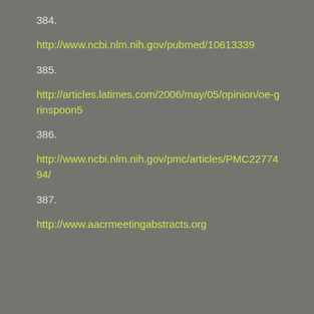384.
http://www.ncbi.nlm.nih.gov/pubmed/10613339
385.
http://articles.latimes.com/2006/may/05/opinion/oe-grinspoon5
386.
http://www.ncbi.nlm.nih.gov/pmc/articles/PMC2277494/
387.
http://www.aacrmeetingabstracts.org